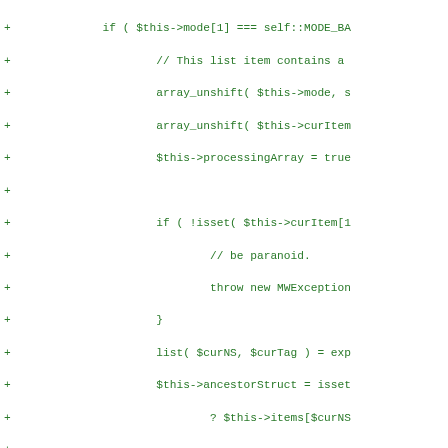[Figure (screenshot): Code diff snippet showing PHP code additions (green '+' lines) with indented source code for array/mode processing logic in a MediaWiki-style parser class]